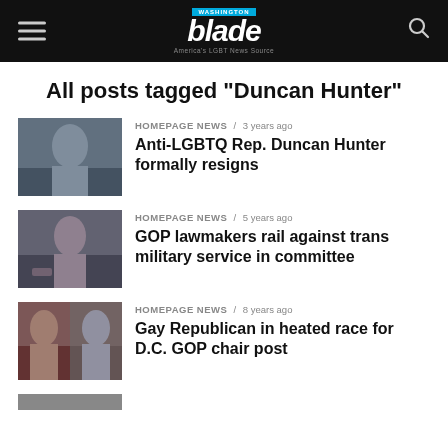Washington Blade — America's LGBT News Source
All posts tagged "Duncan Hunter"
HOMEPAGE NEWS / 3 years ago — Anti-LGBTQ Rep. Duncan Hunter formally resigns
HOMEPAGE NEWS / 5 years ago — GOP lawmakers rail against trans military service in committee
HOMEPAGE NEWS / 8 years ago — Gay Republican in heated race for D.C. GOP chair post